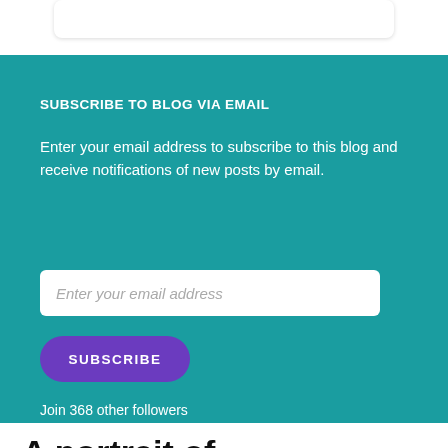[Figure (screenshot): Rounded white card element at top of page, partially cropped]
SUBSCRIBE TO BLOG VIA EMAIL
Enter your email address to subscribe to this blog and receive notifications of new posts by email.
Enter your email address
SUBSCRIBE
Join 368 other followers
A portrait of ineffectiveness: Internal whistleblowing